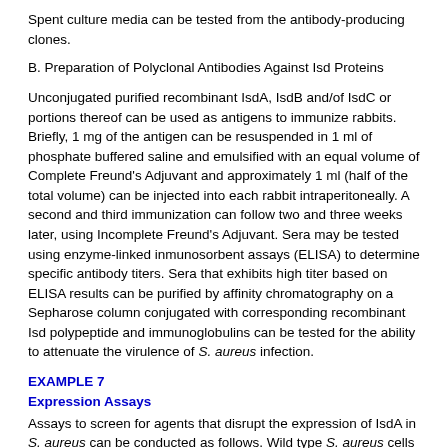Spent culture media can be tested from the antibody-producing clones.
B. Preparation of Polyclonal Antibodies Against Isd Proteins
Unconjugated purified recombinant IsdA, IsdB and/of IsdC or portions thereof can be used as antigens to immunize rabbits. Briefly, 1 mg of the antigen can be resuspended in 1 ml of phosphate buffered saline and emulsified with an equal volume of Complete Freund's Adjuvant and approximately 1 ml (half of the total volume) can be injected into each rabbit intraperitoneally. A second and third immunization can follow two and three weeks later, using Incomplete Freund's Adjuvant. Sera may be tested using enzyme-linked inmunosorbent assays (ELISA) to determine specific antibody titers. Sera that exhibits high titer based on ELISA results can be purified by affinity chromatography on a Sepharose column conjugated with corresponding recombinant Isd polypeptide and immunoglobulins can be tested for the ability to attenuate the virulence of S. aureus infection.
EXAMPLE 7
Expression Assays
Assays to screen for agents that disrupt the expression of IsdA in S. aureus can be conducted as follows. Wild type S. aureus cells can be cultured overnight in tryptic soy broth (TSB) (Difco) in the presence or absence of a test agent. Following 24 hours of culture, the cells can be washed in 1× PBS (phosphate buffered saline) and then lysed at 37° C. using 10 μg of lysostaphin in STE (0.1 M NaCl, 10 mM Tris-HCl [pH 8.0], 1 mM EDTA [pH